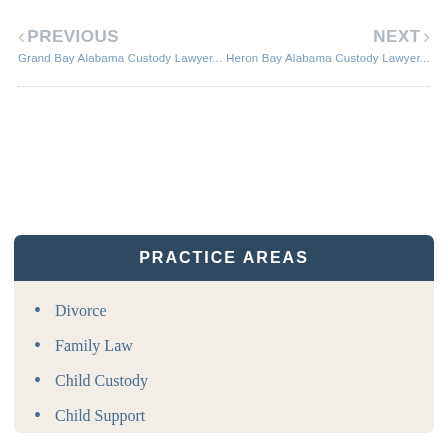PREVIOUS | Grand Bay Alabama Custody Lawyer... | Heron Bay Alabama Custody Lawyer... | NEXT
PRACTICE AREAS
Divorce
Family Law
Child Custody
Child Support